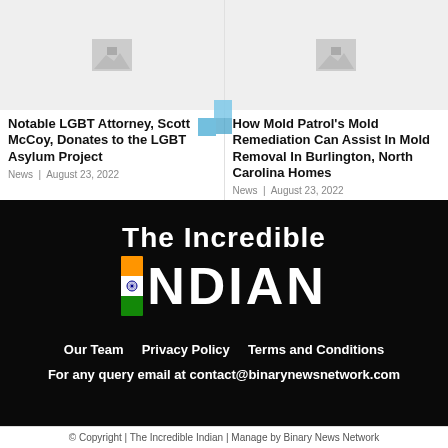[Figure (photo): Placeholder image left column]
Notable LGBT Attorney, Scott McCoy, Donates to the LGBT Asylum Project
News | August 23, 2022
[Figure (photo): Placeholder image right column]
How Mold Patrol’s Mold Remediation Can Assist In Mold Removal In Burlington, North Carolina Homes
News | August 23, 2022
[Figure (logo): The Incredible Indian logo with Indian flag element]
Our Team    Privacy Policy    Terms and Conditions
For any query email at contact@binarynewsnetwork.com
© Copyright | The Incredible Indian | Manage by Binary News Network